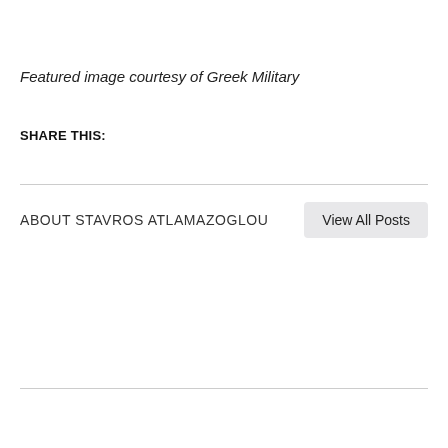Featured image courtesy of  Greek Military
SHARE THIS:
ABOUT STAVROS ATLAMAZOGLOU
View All Posts